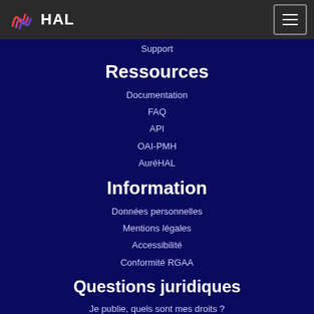HAL
Support
Ressources
Documentation
FAQ
API
OAI-PMH
AuréHAL
Information
Données personnelles
Mentions légales
Accessibilité
Conformité RGAA
Questions juridiques
Je publie, quels sont mes droits ?
Sherpa Romeo